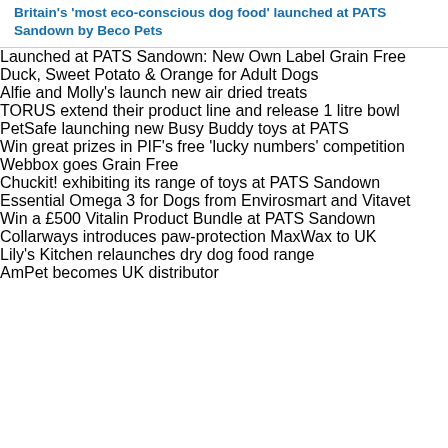Britain's 'most eco-conscious dog food' launched at PATS Sandown by Beco Pets
Launched at PATS Sandown: New Own Label Grain Free Duck, Sweet Potato & Orange for Adult Dogs
Alfie and Molly's launch new air dried treats
TORUS extend their product line and release 1 litre bowl
PetSafe launching new Busy Buddy toys at PATS
Win great prizes in PIF's free 'lucky numbers' competition
Webbox goes Grain Free
Chuckit! exhibiting its range of toys at PATS Sandown
Essential Omega 3 for Dogs from Envirosmart and Vitavet
Win a £500 Vitalin Product Bundle at PATS Sandown
Collarways introduces paw-protection MaxWax to UK
Lily's Kitchen relaunches dry dog food range
AmPet becomes UK distributor
Marriages heat up Wild Bird Care sales with... Frozzys announce a cool new national distributor... photo gallery from Tuesday at a very busy PA...
Picture gallery from Tuesday at PATS San...
[Figure (logo): Prestopets banner with goldfish image, OWN VAN SERVICE & M text, Wholesalers of premium text, NATIONWIDE DELIVERY TO GARDEN CENTRES, PET SHOPS & A text, Tel: 0199...]
Britain's 'most eco-conscious do... Sandown by Beco Pets